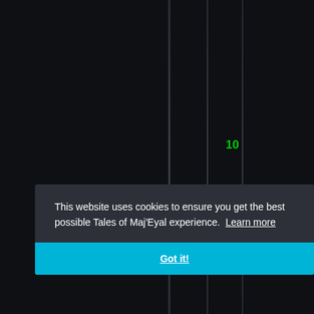[Figure (screenshot): Dark game interface background with vertical stripe/column UI elements in dark gray/charcoal tones. A green number '10' appears on one of the columns.]
This website uses cookies to ensure you get the best possible Tales of Maj'Eyal experience. Learn more
Got it!